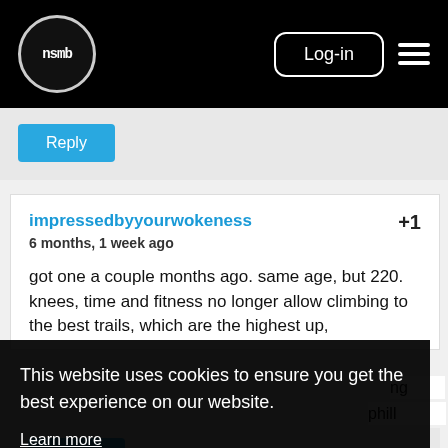nsmb | Log-in
Reply
impressedbyyourwokeness +1
6 months, 1 week ago

got one a couple months ago. same age, but 220. knees, time and fitness no longer allow climbing to the best trails, which are the highest up,
This website uses cookies to ensure you get the best experience on our website.
Learn more
Got it!
Reply